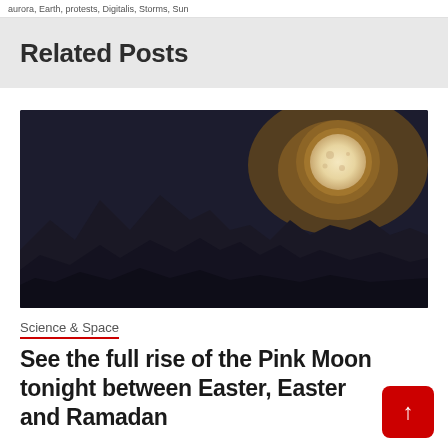aurora, Earth, protests, Digitalis, Storms, Sun
Related Posts
[Figure (photo): A full moon rising over dark jagged mountain silhouettes against a dark night sky with warm golden glow behind the mountains on the right side.]
Science & Space
See the full rise of the Pink Moon tonight between Easter, Easter and Ramadan